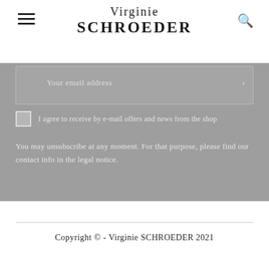Virginie SCHROEDER
Your email address
I agree to receive by e-mail offers and news from the shop
You may unsubscribe at any moment. For that purpose, please find our contact info in the legal notice.
Copyright © - Virginie SCHROEDER 2021